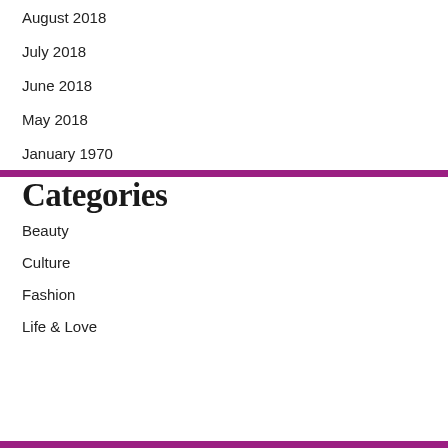August 2018
July 2018
June 2018
May 2018
January 1970
Categories
Beauty
Culture
Fashion
Life & Love